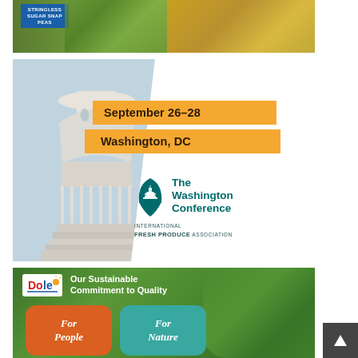[Figure (photo): Top strip showing stringless sugar snap peas product on left (green produce on blue-labeled package) and hair/person on yellow-orange background on right]
[Figure (photo): Washington DC Capitol building photo with orange banner overlays reading 'September 26-28' and 'Washington, DC', and The Washington Conference logo with International Fresh Produce Association branding]
[Figure (infographic): Dole advertisement with green leafy background showing 'Our Sustainable Commitment to Quality' with two rounded boxes: orange 'For People' and teal 'For Nature']